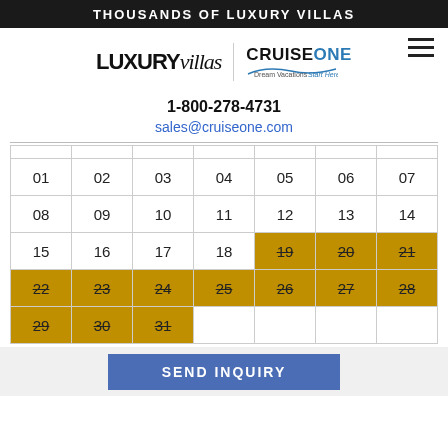THOUSANDS OF LUXURY VILLAS
[Figure (logo): LUXURYvillas logo and CruiseONE Dream Vacations logo side by side with hamburger menu icon]
1-800-278-4731
sales@cruiseone.com
|  |  |  |  |  |  |  |
| --- | --- | --- | --- | --- | --- | --- |
| 01 | 02 | 03 | 04 | 05 | 06 | 07 |
| 08 | 09 | 10 | 11 | 12 | 13 | 14 |
| 15 | 16 | 17 | 18 | 19 (struck) | 20 (struck) | 21 (struck) |
| 22 (struck) | 23 (struck) | 24 (struck) | 25 (struck) | 26 (struck) | 27 (struck) | 28 (struck) |
| 29 (struck) | 30 (struck) | 31 (struck) |  |  |  |  |
SEND INQUIRY